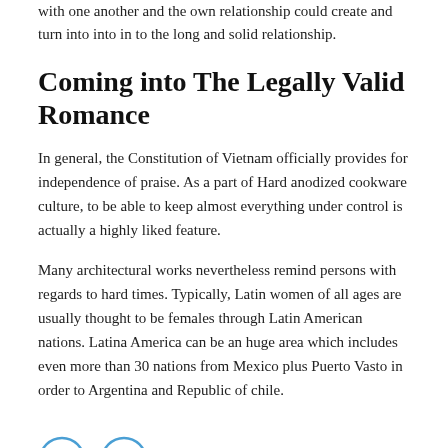with one another and the own relationship could create and turn into into in to the long and solid relationship.
Coming into The Legally Valid Romance
In general, the Constitution of Vietnam officially provides for independence of praise. As a part of Hard anodized cookware culture, to be able to keep almost everything under control is actually a highly liked feature.
Many architectural works nevertheless remind persons with regards to hard times. Typically, Latin women of all ages are usually thought to be females through Latin American nations. Latina America can be an huge area which includes even more than 30 nations from Mexico plus Puerto Vasto in order to Argentina and Republic of chile.
[Figure (illustration): Social media share icons: Facebook (f) and Twitter (bird) as circular outlined buttons]
[Figure (photo): Small thumbnail image of an indoor/architectural scene with warm brown tones]
« PREVIOUS
PENDAFTARAN PERANGKAT DESA SIMPUR UNTUK